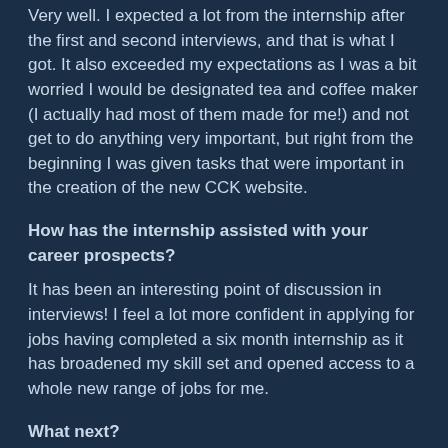Very well. I expected a lot from the internship after the first and second interviews, and that is what I got. It also exceeded my expectations as I was a bit worried I would be designated tea and coffee maker (I actually had most of them made for me!) and not get to do anything very important, but right from the beginning I was given tasks that were important in the creation of the new CCK website.
How has the internship assisted with your career prospects?
It has been an interesting point of discussion in interviews! I feel a lot more confident in applying for jobs having completed a six month internship as it has broadened my skill set and opened access to a whole new range of jobs for me.
What next?
Now that I have completed the Journalism internship, I am going to begin an Editorial internship with CCK. I have really enjoyed my time at CCK and want to develop my editorial skills as editorial work is a career I would like to